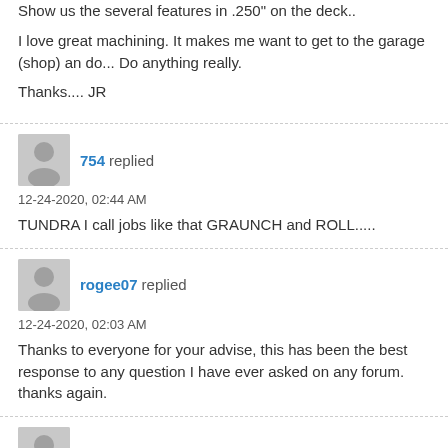Show us the several features in .250" on the deck..

I love great machining. It makes me want to get to the garage (shop) an do... Do anything really.

Thanks.... JR
754 replied
12-24-2020, 02:44 AM
TUNDRA I call jobs like that GRAUNCH and ROLL.....
rogee07 replied
12-24-2020, 02:03 AM
Thanks to everyone for your advise, this has been the best response to any question I have ever asked on any forum.
thanks again.
darryl replied
12-24-2020, 01:17 AM